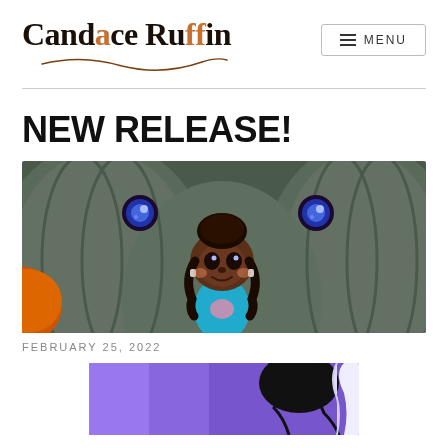Candace Ruffin
NEW RELEASE!
[Figure (illustration): Illustrated book cover showing a young Black girl with braided pigtails wearing a teal shirt, standing in front of large dark pumpkins with glowing blue eyes, surrounded by an autumn scene.]
FEBRUARY 25, 2022
[Figure (illustration): Partial view of another illustrated image with purple background and what appears to be a dark creature or character.]